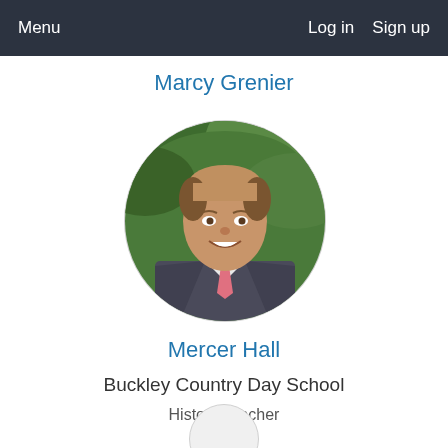Menu    Log in    Sign up
Marcy Grenier
[Figure (photo): Circular profile photo of a man in a dark suit with a pink tie, smiling, green foliage background]
Mercer Hall
Buckley Country Day School
History Teacher